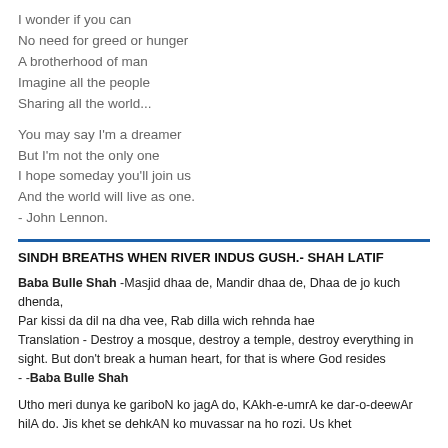I wonder if you can
No need for greed or hunger
A brotherhood of man
Imagine all the people
Sharing all the world...

You may say I'm a dreamer
But I'm not the only one
I hope someday you'll join us
And the world will live as one.
- John Lennon.
SINDH BREATHS WHEN RIVER INDUS GUSH.- SHAH LATIF
Baba Bulle Shah -Masjid dhaa de, Mandir dhaa de, Dhaa de jo kuch dhenda,
Par kissi da dil na dha vee, Rab dilla wich rehnda hae
Translation - Destroy a mosque, destroy a temple, destroy everything in sight. But don't break a human heart, for that is where God resides
- -Baba Bulle Shah
Utho meri dunya ke gariboN ko jagA do, KAkh-e-umrA ke dar-o-deewAr hilA do. Jis khet se dehkAN ko muvassar na ho rozi. Us khet